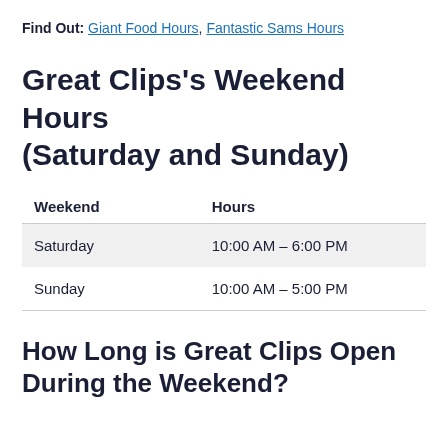Find Out: Giant Food Hours, Fantastic Sams Hours
Great Clips's Weekend Hours (Saturday and Sunday)
| Weekend | Hours |
| --- | --- |
| Saturday | 10:00 AM – 6:00 PM |
| Sunday | 10:00 AM – 5:00 PM |
How Long is Great Clips Open During the Weekend?